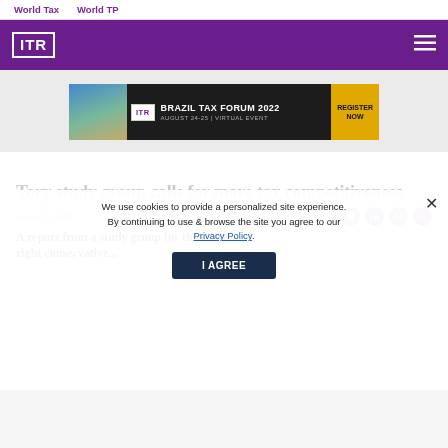World Tax   World TP
[Figure (logo): ITR logo in white box on purple header bar with hamburger menu icon]
[Figure (infographic): ITR Brazil Tax Forum 2022 banner ad - August 24-25 Virtual Event - Register Now]
Tory study group calls for more tax competitiveness
August 22, 2007
We use cookies to provide a personalized site experience. By continuing to use & browse the site you agree to our Privacy Policy.
A report from a study group for the centre-right conservative...